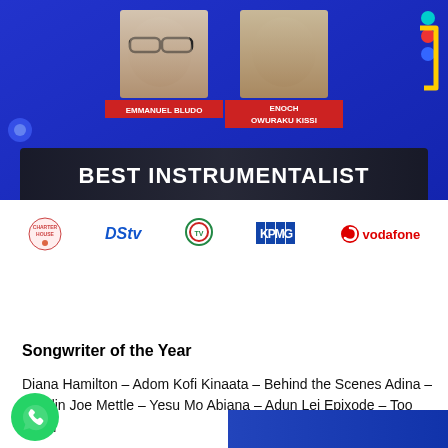[Figure (photo): Award show graphic featuring two nominees: Emmanuel Bludo and Enoch Owuraku Kissi for Best Instrumentalist, with Charterhouse, DStv, GTV, KPMG, and Vodafone sponsor logos at bottom.]
Songwriter of the Year
Diana Hamilton – Adom Kofi Kinaata – Behind the Scenes Adina – Hyedin Joe Mettle – Yesu Mo Abiana – Adun Lei Epixode – Too Much